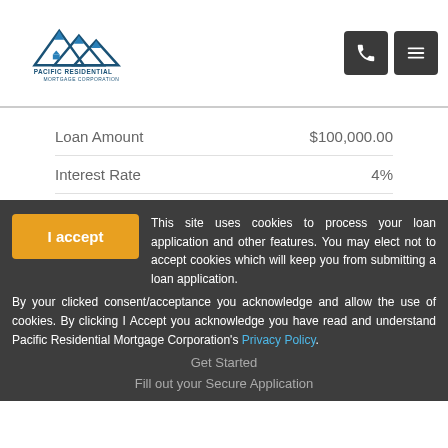Pacific Residential Mortgage Corporation
|  |  |
| --- | --- |
| Loan Amount | $100,000.00 |
| Interest Rate | 4% |
| Origination Fee | $1,000.00 |
| Discount Points | $2,000.00 |
| Prepaid Interest | $166.67 |
| Other Loan Fees | $0.00 |
| Total Loan Fees | $3,166.67 |
| Monthly Payment | $477.42 |
This site uses cookies to process your loan application and other features. You may elect not to accept cookies which will keep you from submitting a loan application. By your clicked consent/acceptance you acknowledge and allow the use of cookies. By clicking I Accept you acknowledge you have read and understand Pacific Residential Mortgage Corporation's Privacy Policy.
Get Started
Fill out your Secure Application